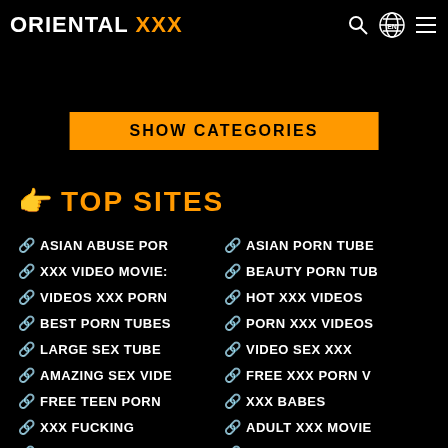ORIENTAL XXX
SHOW CATEGORIES
TOP SITES
ASIAN ABUSE POR
ASIAN PORN TUBE
XXX VIDEO MOVIES
BEAUTY PORN TUBE
VIDEOS XXX PORN
HOT XXX VIDEOS
BEST PORN TUBES
PORN XXX VIDEOS
LARGE SEX TUBE
VIDEO SEX XXX
AMAZING SEX VIDE
FREE XXX PORN V
FREE TEEN PORN
XXX BABES
XXX FUCKING
ADULT XXX MOVIE
NEW PORN TUBES
FREE XXX MOVIE
MOVIE TUBE
ADULT FREE PORN